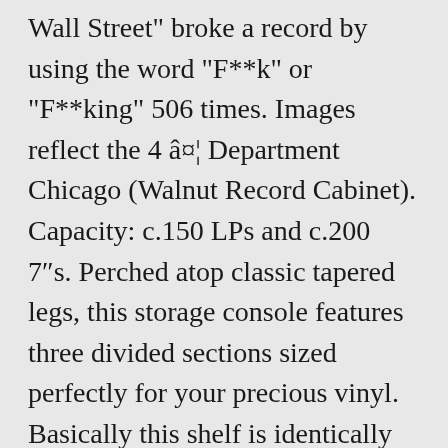Wall Street" broke a record by using the word "F**k" or "F**king" 506 times. Images reflect the 4 â¤¦ Department Chicago (Walnut Record Cabinet). Capacity: c.150 LPs and c.200 7"s. Perched atop classic tapered legs, this storage console features three divided sections sized perfectly for your precious vinyl. Basically this shelf is identically made except the walls which are about 2cm thinner and have rounded corners. Low Rider Vinyl Record Shelf from IKEA TV unit - IKEA Hackers. They are inexpensive, look and work great but they have a limitation. - to limit how many times you see an ad Then the Can-Am is most definitely for you. KillscrowVinyl Cabinet â¤¤ Killscrow For the ambitious